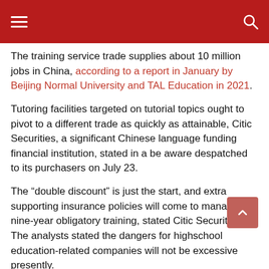≡  [search icon]
The training service trade supplies about 10 million jobs in China, according to a report in January by Beijing Normal University and TAL Education in 2021.
Tutoring facilities targeted on tutorial topics ought to pivot to a different trade as quickly as attainable, Citic Securities, a significant Chinese language funding financial institution, stated in a be aware despatched to its purchasers on July 23.
The “double discount” is just the start, and extra supporting insurance policies will come to manage nine-year obligatory training, stated Citic Securities. The analysts stated the dangers for highschool education-related companies will not be excessive presently.
A senior worker of 17 Education & Technology Group —